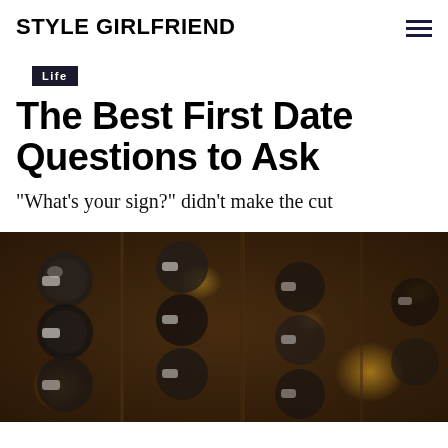STYLE GIRLFRIEND
Life
The Best First Date Questions to Ask
"What's your sign?" didn't make the cut
[Figure (photo): Dark, blurry photo of wine bottles stacked in a wine rack at a restaurant or bar, with warm bokeh lights in the background.]